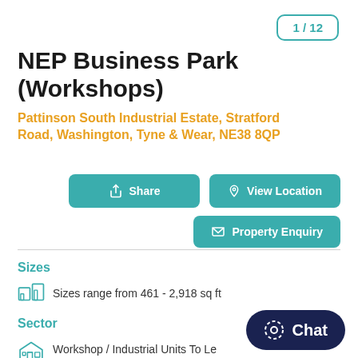1 / 12
NEP Business Park (Workshops)
Pattinson South Industrial Estate, Stratford Road, Washington, Tyne & Wear, NE38 8QP
Share
View Location
Property Enquiry
Sizes
Sizes range from 461 - 2,918 sq ft
Sector
Workshop / Industrial Units To Le
Chat